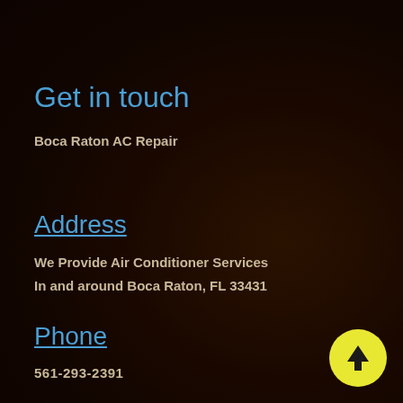Get in touch
Boca Raton AC Repair
Address
We Provide Air Conditioner Services
In and around Boca Raton, FL 33431
Phone
561-293-2391
E-mail
[Figure (other): Yellow circular scroll-to-top button with upward arrow icon]